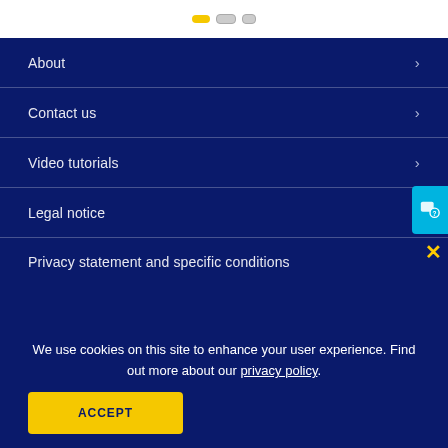About
Contact us
Video tutorials
Legal notice
Privacy statement and specific conditions
We use cookies on this site to enhance your user experience. Find out more about our privacy policy.
ACCEPT